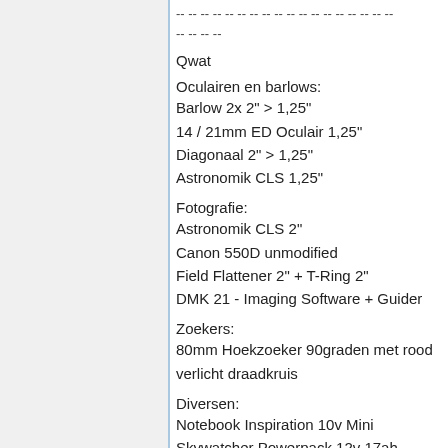-- -- -- -- -- -- -- -- -- -- -- -- -- -- -- -- -- --
-- -- -- --
Qwat
Oculairen en barlows:
Barlow 2x 2" > 1,25"
14 / 21mm ED Oculair 1,25"
Diagonaal 2" > 1,25"
Astronomik CLS 1,25"
Fotografie:
Astronomik CLS 2"
Canon 550D unmodified
Field Flattener 2" + T-Ring 2"
DMK 21 - Imaging Software + Guider
Zoekers:
80mm Hoekzoeker 90graden met rood verlicht draadkruis
Diversen:
Notebook Inspiration 10v Mini
Skywatcher Powerpack 12v 17ah